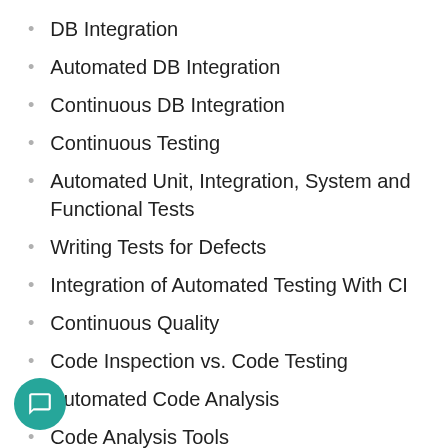DB Integration
Automated DB Integration
Continuous DB Integration
Continuous Testing
Automated Unit, Integration, System and Functional Tests
Writing Tests for Defects
Integration of Automated Testing With CI
Continuous Quality
Code Inspection vs. Code Testing
Automated Code Analysis
Code Analysis Tools
Continuous Deployment